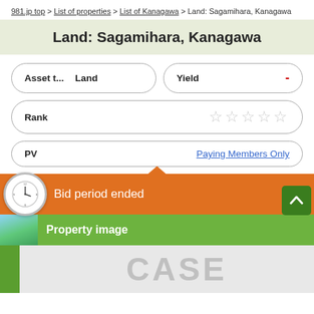981.jp top > List of properties > List of Kanagawa > Land: Sagamihara, Kanagawa
Land: Sagamihara, Kanagawa
Asset t... Land | Yield -
Rank ☆☆☆☆☆
PV Paying Members Only
Bid period ended
Property image
[Figure (photo): Property image placeholder with CASE text watermark]